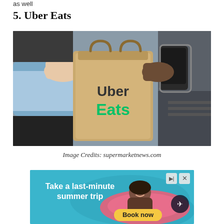as well
5. Uber Eats
[Figure (photo): Photo of a food delivery handoff: a person handing a brown paper bag with 'Uber Eats' logo (Uber in dark text, Eats in green) to a delivery person with a smartphone strapped to their arm.]
Image Credits: supermarketnews.com
[Figure (screenshot): Advertisement: 'Take a last-minute summer trip' with a 'Book now' button, showing a person in a pool on a pink float. Has close and skip icons top right with a plane icon.]